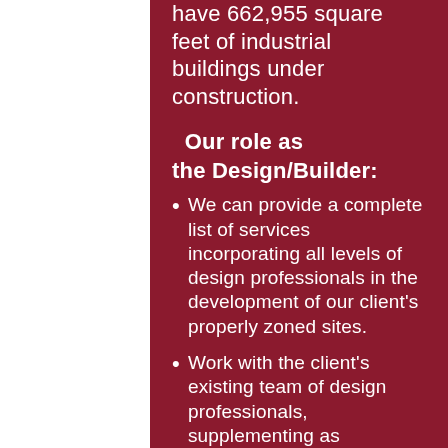have 662,955 square feet of industrial buildings under construction.
Our role as the Design/Builder:
We can provide a complete list of services incorporating all levels of design professionals in the development of our client's properly zoned sites.
Work with the client's existing team of design professionals, supplementing as necessary, those design